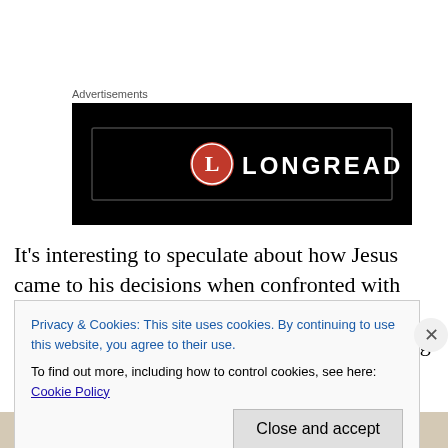Advertisements
[Figure (logo): Longreads advertisement banner — black background with red circle L logo and white text LONGREADS]
It’s interesting to speculate about how Jesus came to his decisions when confronted with these choices, I say speculated because of course it is impossible to know what was going through his mind. There is no mention of any external evidence, evidence in the sense that the
Privacy & Cookies: This site uses cookies. By continuing to use this website, you agree to their use.
To find out more, including how to control cookies, see here: Cookie Policy
Close and accept